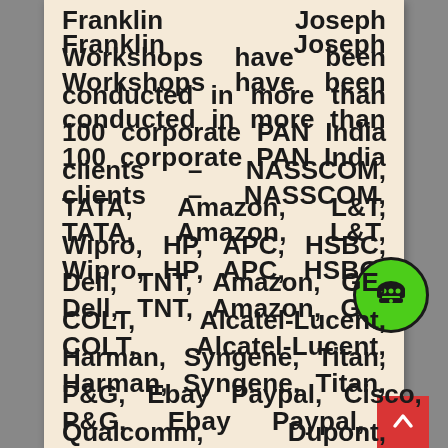Franklin Joseph Workshops have been conducted in more than 100 corporate PAN India clients – NASSCOM, TATA, Amazon, L&T, Wipro, HP, APC, HSBC, Dell, TNT, Amazon, GE, COLT, Alcatel-Lucent, Harman, Syngene, Titan, P&G, Ebay Paypal, Cisco, Qualcomm, Dupont, Yahoo, 3M, ABB, Dupont, HCL, Deutsche Bank, ITC Group, Accenture, Cognizant, Monsanto, Tavant, NIIT, NESS, Infosys, Goldman